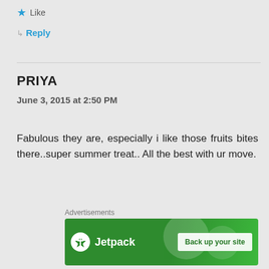★ Like
↳ Reply
PRIYA
June 3, 2015 at 2:50 PM
Fabulous they are, especially i like those fruits bites there..super summer treat.. All the best with ur move.
★ Like
↳ Reply
Advertisements
[Figure (other): Jetpack advertisement banner with logo and 'Back up your site' button on green background]